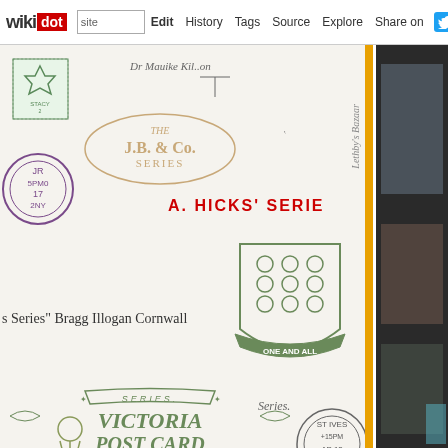wikidot | site | Edit | History | Tags | Source | Explore | Share on Twitter
[Figure (photo): Scanned postcard backs showing various publisher series logos and stamps including J.B. & Co. Series oval logo, A. HICKS' SERIES in red text, One And All shield crest series, Victoria Post Card series banner, postmarks including St Ives Cornwall, and partial stamps and handwriting. Right side shows dark panel with partial photo.]